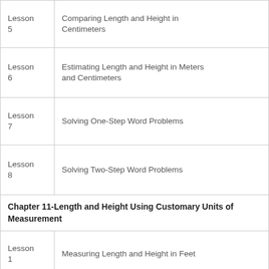| Lesson | Topic |
| --- | --- |
| Lesson 5 | Comparing Length and Height in Centimeters |
| Lesson 6 | Estimating Length and Height in Meters and Centimeters |
| Lesson 7 | Solving One-Step Word Problems |
| Lesson 8 | Solving Two-Step Word Problems |
Chapter 11-Length and Height Using Customary Units of Measurement
| Lesson | Topic |
| --- | --- |
| Lesson 1 | Measuring Length and Height in Feet |
| Lesson 2 | Measuring Length and Height in Yards |